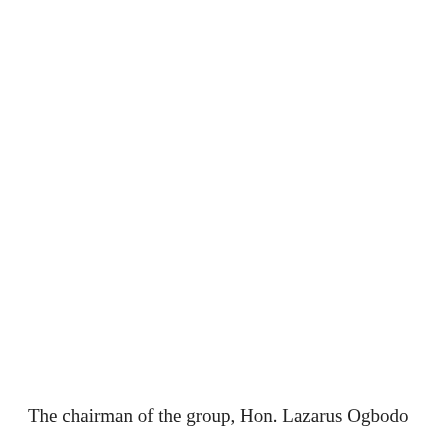The chairman of the group, Hon. Lazarus Ogbodo